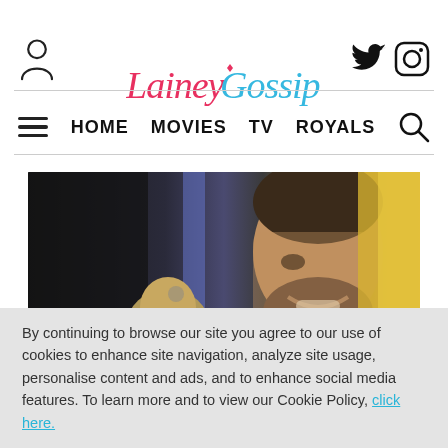LaineyGossip — HOME MOVIES TV ROYALS
[Figure (photo): Photo of a smiling bearded man (Ben Affleck) with a shorter person in foreground, indoor setting with dark and yellow background]
By continuing to browse our site you agree to our use of cookies to enhance site navigation, analyze site usage, personalise content and ads, and to enhance social media features. To learn more and to view our Cookie Policy,  click here.